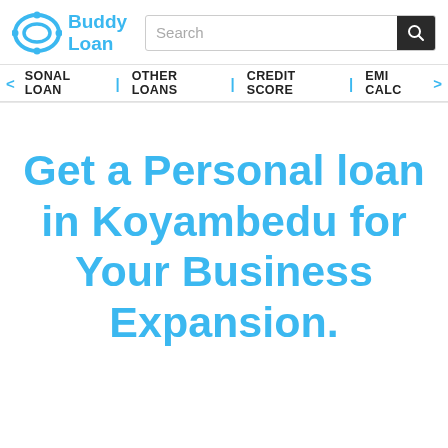[Figure (logo): Buddy Loan logo with circular icon in blue and text 'Buddy Loan']
Search
< SONAL LOAN   OTHER LOANS   CREDIT SCORE   EMI CALC >
Get a Personal loan in Koyambedu for Your Business Expansion.